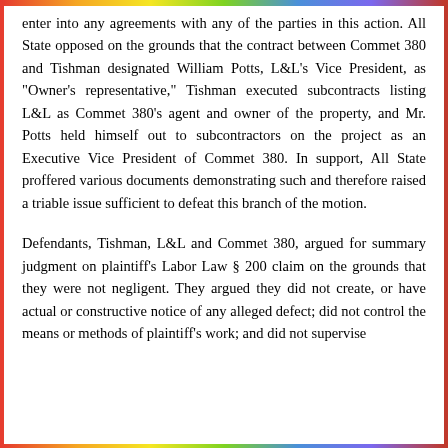enter into any agreements with any of the parties in this action. All State opposed on the grounds that the contract between Commet 380 and Tishman designated William Potts, L&L's Vice President, as "Owner's representative," Tishman executed subcontracts listing L&L as Commet 380's agent and owner of the property, and Mr. Potts held himself out to subcontractors on the project as an Executive Vice President of Commet 380. In support, All State proffered various documents demonstrating such and therefore raised a triable issue sufficient to defeat this branch of the motion.
Defendants, Tishman, L&L and Commet 380, argued for summary judgment on plaintiff's Labor Law § 200 claim on the grounds that they were not negligent. They argued they did not create, or have actual or constructive notice of any alleged defect; did not control the means or methods of plaintiff's work; and did not supervise